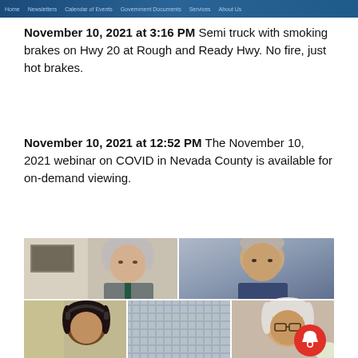Navigation bar / website header
November 10, 2021 at 3:16 PM Semi truck with smoking brakes on Hwy 20 at Rough and Ready Hwy. No fire, just hot brakes.
November 10, 2021 at 12:52 PM The November 10, 2021 webinar on COVID in Nevada County is available for on-demand viewing.
[Figure (photo): Screenshot of a video conference call showing four participants: two in the top row (elderly man in suit on left, older man on right) and three partially visible in the bottom row, with a red notification bell icon overlay in the bottom right corner.]